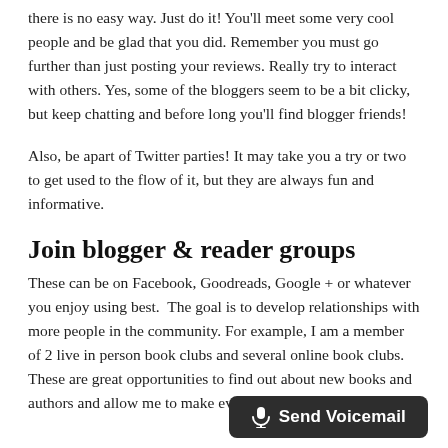there is no easy way. Just do it! You'll meet some very cool people and be glad that you did. Remember you must go further than just posting your reviews. Really try to interact with others. Yes, some of the bloggers seem to be a bit clicky, but keep chatting and before long you'll find blogger friends!
Also, be apart of Twitter parties! It may take you a try or two to get used to the flow of it, but they are always fun and informative.
Join blogger & reader groups
These can be on Facebook, Goodreads, Google + or whatever you enjoy using best.  The goal is to develop relationships with more people in the community. For example, I am a member of 2 live in person book clubs and several online book clubs. These are great opportunities to find out about new books and authors and allow me to make even more